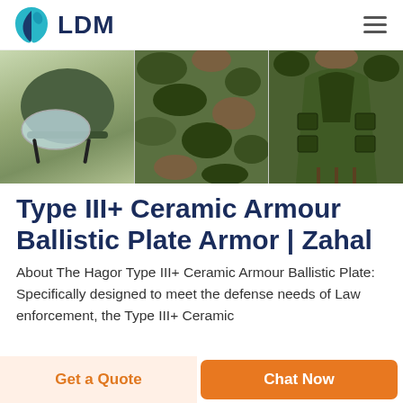LDM
[Figure (photo): Three product images side by side: a military helmet with visor, camouflage fabric, and a camouflage tactical vest]
Type III+ Ceramic Armour Ballistic Plate Armor | Zahal
About The Hagor Type III+ Ceramic Armour Ballistic Plate: Specifically designed to meet the defense needs of Law enforcement, the Type III+ Ceramic
Get a Quote
Chat Now